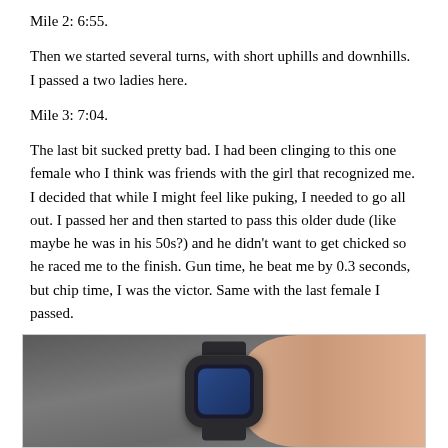Mile 2: 6:55.
Then we started several turns, with short uphills and downhills. I passed a two ladies here.
Mile 3: 7:04.
The last bit sucked pretty bad. I had been clinging to this one female who I think was friends with the girl that recognized me. I decided that while I might feel like puking, I needed to go all out. I passed her and then started to pass this older dude (like maybe he was in his 50s?) and he didn't want to get chicked so he raced me to the finish. Gun time, he beat me by 0.3 seconds, but chip time, I was the victor. Same with the last female I passed.
[Figure (photo): A photo of a GPS running watch on a wrist against an asphalt background]